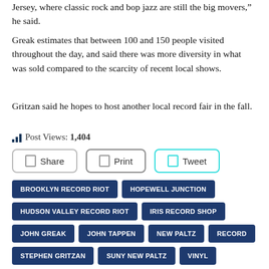Jersey, where classic rock and bop jazz are still the big movers,” he said.
Greak estimates that between 100 and 150 people visited throughout the day, and said there was more diversity in what was sold compared to the scarcity of recent local shows.
Gritzan said he hopes to host another local record fair in the fall.
Post Views: 1,404
Share
Print
Tweet
BROOKLYN RECORD RIOT
HOPEWELL JUNCTION
HUDSON VALLEY RECORD RIOT
IRIS RECORD SHOP
JOHN GREAK
JOHN TAPPEN
NEW PALTZ
RECORD
STEPHEN GRITZAN
SUNY NEW PALTZ
VINYL